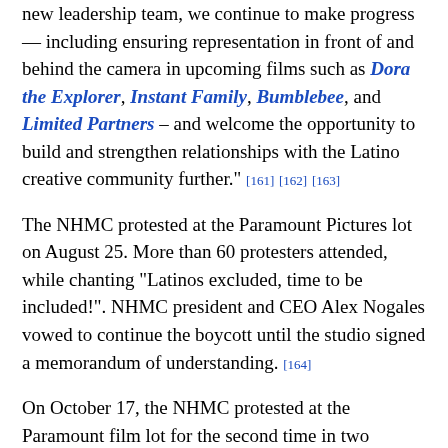new leadership team, we continue to make progress — including ensuring representation in front of and behind the camera in upcoming films such as Dora the Explorer, Instant Family, Bumblebee, and Limited Partners – and welcome the opportunity to build and strengthen relationships with the Latino creative community further." [161] [162] [163]
The NHMC protested at the Paramount Pictures lot on August 25. More than 60 protesters attended, while chanting "Latinos excluded, time to be included!". NHMC president and CEO Alex Nogales vowed to continue the boycott until the studio signed a memorandum of understanding. [164]
On October 17, the NHMC protested at the Paramount film lot for the second time in two months, with 75 protesters attending. The leaders delivered a petition signed by 12,307